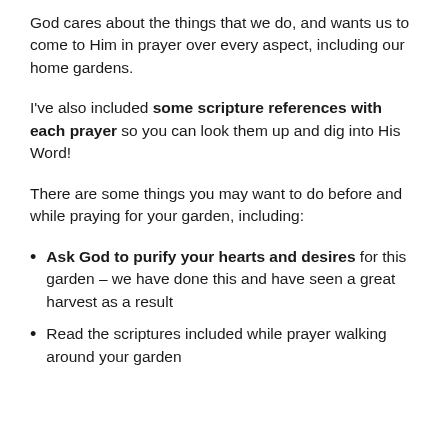God cares about the things that we do, and wants us to come to Him in prayer over every aspect, including our home gardens.
I've also included some scripture references with each prayer so you can look them up and dig into His Word!
There are some things you may want to do before and while praying for your garden, including:
Ask God to purify your hearts and desires for this garden – we have done this and have seen a great harvest as a result
Read the scriptures included while prayer walking around your garden